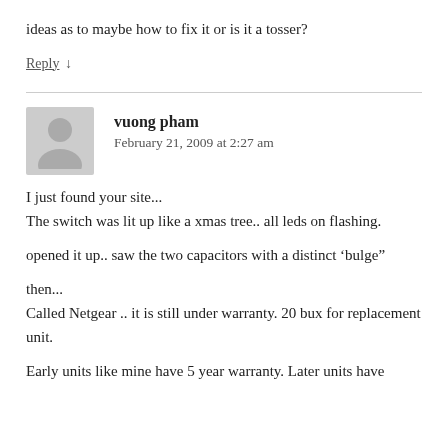ideas as to maybe how to fix it or is it a tosser?
Reply ↓
vuong pham
February 21, 2009 at 2:27 am
I just found your site...
The switch was lit up like a xmas tree.. all leds on flashing.

opened it up.. saw the two capacitors with a distinct 'bulge"

then...
Called Netgear .. it is still under warranty. 20 bux for replacement unit.

Early units like mine have 5 year warranty. Later units have